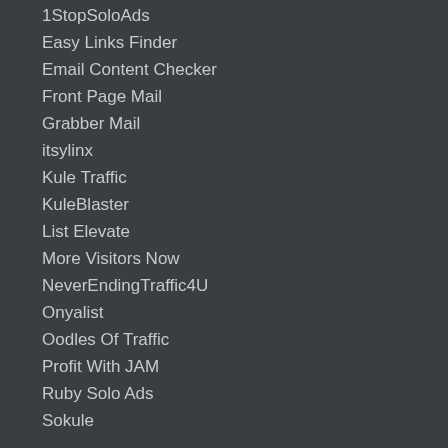1StopSoloAds
Easy Links Finder
Email Content Checker
Front Page Mail
Grabber Mail
itsylinx
Kule Traffic
KuleBlaster
List Elevate
More Visitors Now
NeverEndingTraffic4U
Onyalist
Oodles Of Traffic
Profit With JAM
Ruby Solo Ads
Sokule